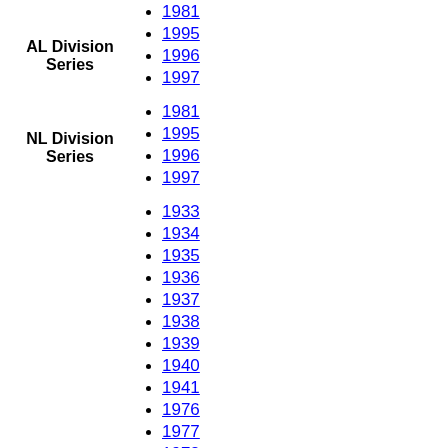1981
1995
1996
1997
AL Division Series
1981
1995
1996
1997
NL Division Series
1933
1934
1935
1936
1937
1938
1939
1940
1941
1976
1977
1978
1979
1980
1981
1982